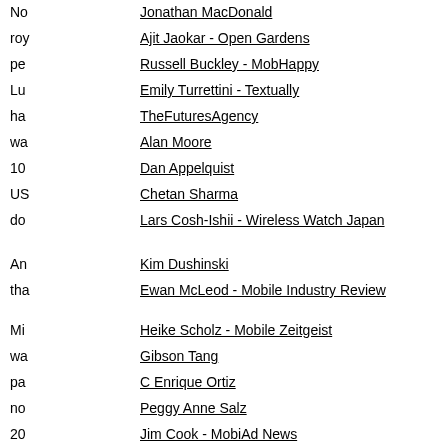No | Jonathan MacDonald
roy | Ajit Jaokar - Open Gardens
pe | Russell Buckley - MobHappy
Lu | Emily Turrettini - Textually
ha | TheFuturesAgency
wa | Alan Moore
10 | Dan Appelquist
US | Chetan Sharma
do | Lars Cosh-Ishii - Wireless Watch Japan
An | Kim Dushinski
tha | Ewan McLeod - Mobile Industry Review
Mi | Heike Scholz - Mobile Zeitgeist
wa | Gibson Tang
pa | C Enrique Ortiz
no | Peggy Anne Salz
20 | Jim Cook - MobiAd News
do | Tony Fish